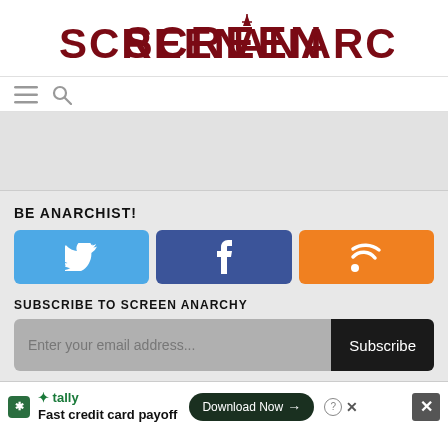[Figure (logo): ScreenAnarchy logo in dark red/maroon uppercase bold text with a stylized anarchy symbol above the 'A']
[Figure (infographic): Hamburger menu icon (three horizontal lines) and magnifying glass search icon]
BE ANARCHIST!
[Figure (infographic): Three social media buttons: Twitter (blue with bird icon), Facebook (dark blue with f icon), RSS (orange with RSS icon)]
SUBSCRIBE TO SCREEN ANARCHY
[Figure (infographic): Email subscription form with text field 'Enter your email address...' and 'Subscribe' button]
[Figure (infographic): Advertisement bar: Tally app - Fast credit card payoff, with Download Now button and close icons]